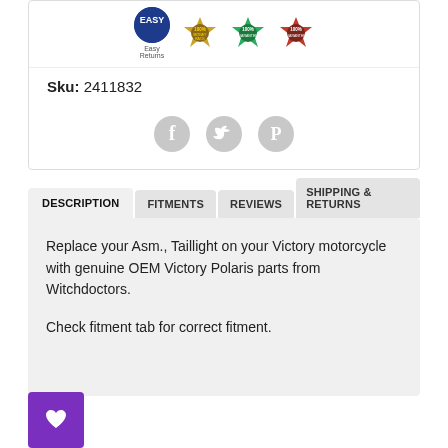[Figure (other): Trust badges strip: Easy Returns (blue icon), Money Back (gold badge), 100% Guaranteed (green badge), 100% Guaranteed (red badge)]
Sku: 2411832
[Figure (other): Social sharing icons: Facebook, Twitter, Pinterest — grey circles]
DESCRIPTION | FITMENTS | REVIEWS | SHIPPING & RETURNS (tab navigation)
Replace your Asm., Taillight on your Victory motorcycle with genuine OEM Victory Polaris parts from Witchdoctors.

Check fitment tab for correct fitment.
[Figure (other): Purple heart/wishlist button in bottom left corner]